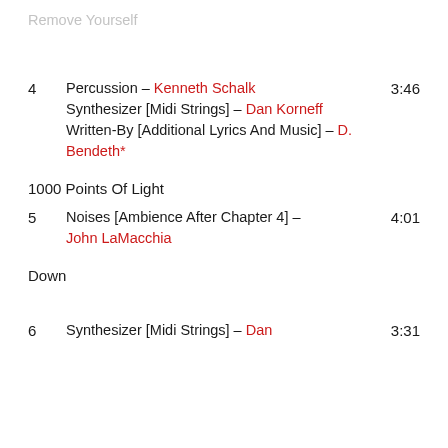Remove Yourself
4  Percussion – Kenneth Schalk  Synthesizer [Midi Strings] – Dan Korneff  Written-By [Additional Lyrics And Music] – D. Bendeth*  3:46
1000 Points Of Light
5  Noises [Ambience After Chapter 4] – John LaMacchia  4:01
Down
6  Synthesizer [Midi Strings] – Dan  3:31